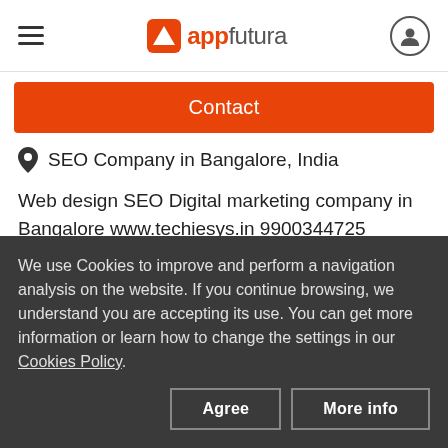appfutura
Contact
SEO Company in Bangalore, India
Web design SEO Digital marketing company in Bangalore www.techiesys.in 9900344725 business@techiesys.in Boost Your Digital
Show more
We use Cookies to improve and perform a navigation analysis on the website. If you continue browsing, we understand you are accepting its use. You can get more information or learn how to change the settings in our Cookies Policy.
Agree
More info